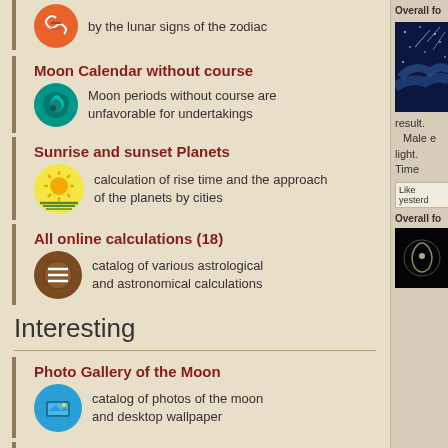by the lunar signs of the zodiac
Moon Calendar without course
Moon periods without course are unfavorable for undertakings
Sunrise and sunset Planets
calculation of rise time and the approach of the planets by cities
All online calculations (18)
catalog of various astrological and astronomical calculations
Interesting
Photo Gallery of the Moon
catalog of photos of the moon and desktop wallpaper
Lunar dream book, all dream books
collection of interpretations and meanings
result. Male e... light. Time...
Like yesterd...
Overall fo...